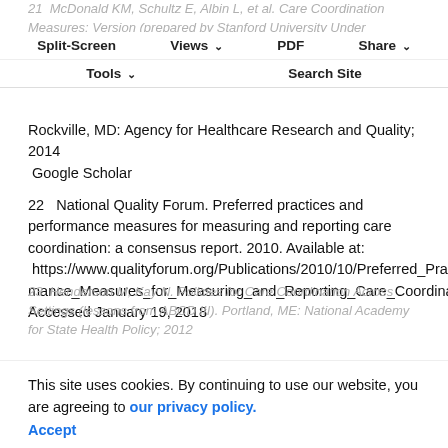21  McDonald KM, Schultz E, Albin L, et al. Care Coordination Measures: Version (prepared by Stanford University Under Subcontract to American Institutes for Research on Contract No. HHSA290-2010-000051). Rockville, MD: Agency for Healthcare Research and Quality; 2014
Google Scholar
Split-Screen | Views | PDF | Share | Tools | Search Site
22  National Quality Forum. Preferred practices and performance measures for measuring and reporting care coordination: a consensus report. 2010. Available at:  https://www.qualityforum.org/Publications/2010/10/Preferred_Practices_and_Performance_Measures_for_Measuring_and_Reporting_Care_Coordination.aspx. Accessed January 19, 2018
This site uses cookies. By continuing to use our website, you are agreeing to our privacy policy. Accept
23  Henderson M, Kay N. Policies for Care Coordination Across Settings (lessons from ABCD III). Portland, ME: National Academy for State Health Policy; 2012